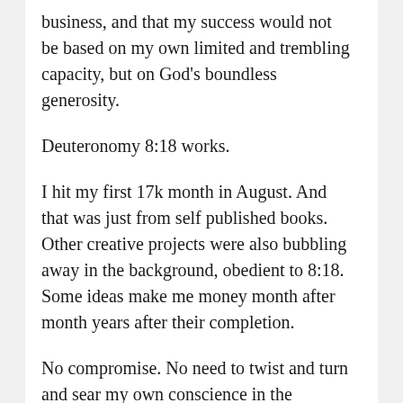business, and that my success would not be based on my own limited and trembling capacity, but on God's boundless generosity.
Deuteronomy 8:18 works.
I hit my first 17k month in August. And that was just from self published books. Other creative projects were also bubbling away in the background, obedient to 8:18. Some ideas make me money month after month years after their completion.
No compromise. No need to twist and turn and sear my own conscience in the process.